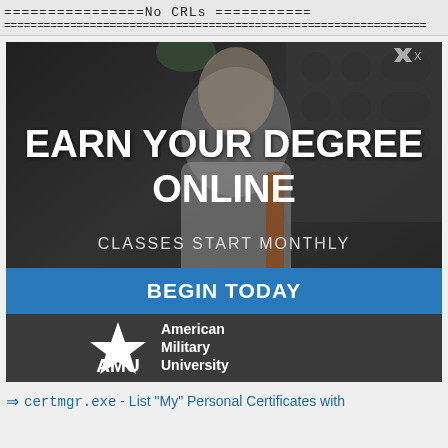================No CRLs ===========
================================================================
[Figure (photo): Advertisement for American Military University (AMU) showing a man studying. Text overlays: 'EARN YOUR DEGREE ONLINE', 'CLASSES START MONTHLY', 'BEGIN TODAY' button, AMU logo with star.]
⇒ certmgr.exe - List "My" Personal Certificates with